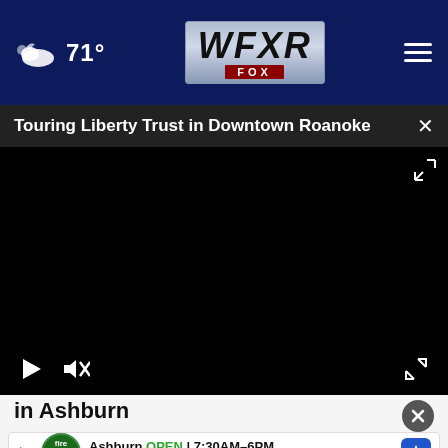71° WFXR FOX
Touring Liberty Trust in Downtown Roanoke
[Figure (screenshot): Black video player area with play button and mute button controls at bottom left, and fullscreen icon at bottom right]
in Ashburn
Ad by SmartAsset
[Figure (screenshot): Advertisement banner: Firestone Auto Care logo, Ashburn OPEN 7:30AM-6PM, 43781 Parkhurst Plaza, Ashburn, with navigation arrow icon]